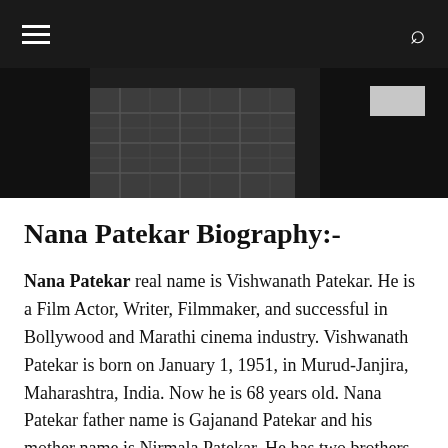Navigation bar with hamburger menu and search icon
[Figure (photo): Black and white photograph of Nana Patekar, partial view showing a person in a plaid/checkered shirt with dark background]
Nana Patekar Biography:-
Nana Patekar real name is Vishwanath Patekar. He is a Film Actor, Writer, Filmmaker, and successful in Bollywood and Marathi cinema industry. Vishwanath Patekar is born on January 1, 1951, in Murud-Janjira, Maharashtra, India. Now he is 68 years old. Nana Patekar father name is Gajanand Patekar and his mother name is Nirmala Patekar. He has two brothers whose name is Ashok and Dilip Patekar. Nana Patekar married Neelkanti at the age of 27 and he has one son. He went through a difficult childhood. When he was 13-Year-old he used to paint